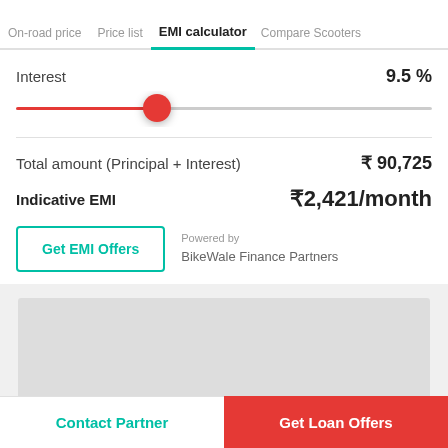On-road price | Price list | EMI calculator | Compare Scooters
Interest  9.5 %
[Figure (other): Horizontal slider showing interest rate at 9.5%, with red fill and red circular thumb at approximately 34% position]
Total amount (Principal + Interest)  ₹ 90,725
Indicative EMI  ₹2,421/month
Get EMI Offers
Powered by BikeWale Finance Partners
[Figure (screenshot): Gray section with lighter gray inner rectangle, and a partial map/location icon at the bottom center]
Contact Partner
Get Loan Offers